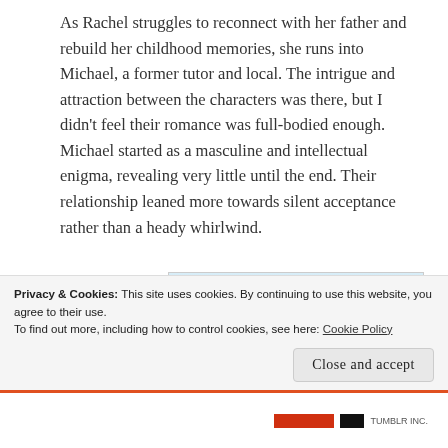As Rachel struggles to reconnect with her father and rebuild her childhood memories, she runs into Michael, a former tutor and local. The intrigue and attraction between the characters was there, but I didn't feel their romance was full-bodied enough. Michael started as a masculine and intellectual enigma, revealing very little until the end. Their relationship leaned more towards silent acceptance rather than a heady whirlwind.
[Figure (screenshot): Tumblr Ad-Free advertisement banner with blue gradient wave background and bold black text reading 'TUMBLR AD-FREE']
Privacy & Cookies: This site uses cookies. By continuing to use this website, you agree to their use. To find out more, including how to control cookies, see here: Cookie Policy
Close and accept